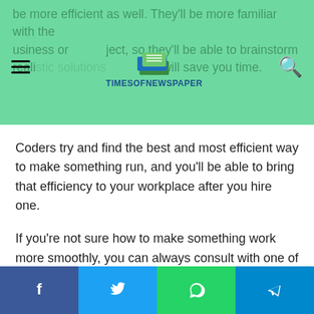be more efficient as well. They'll be more familiar with the business or project, so they'll be able to brainstorm realistic solutions, which will save you time.
[Figure (logo): Times of Newspaper logo with book icon and blue text]
Coders try and find the best and most efficient way to make something run, and you'll be able to bring that efficiency to your workplace after you hire one.
If you're not sure how to make something work more smoothly, you can always consult with one of your developers and ask them if they have any suggestions or solutions.
3. Productivity
When you hire a Python developer, you'll also see increased productivity on your team.
Facebook | Twitter | WhatsApp | Telegram